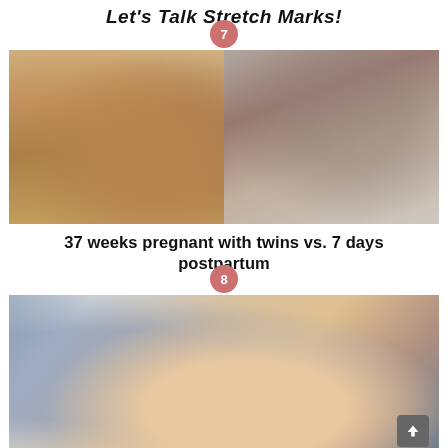Let's Talk Stretch Marks!
[Figure (photo): Two-photo collage: left side shows a pregnant woman with twins taking a mirror selfie at 37 weeks; right side shows the same woman breastfeeding her newborn twins 7 days postpartum. A pink circle badge with the number 7 appears at the top center.]
37 weeks pregnant with twins vs. 7 days postpartum
[Figure (photo): Photo of a pregnant woman lying down showing her bare belly with stretch marks, wearing a blue top. She has tattoos on her arm. A pink circle badge with the number 8 appears at the top center. A grey scroll-to-top button appears in the bottom right corner.]